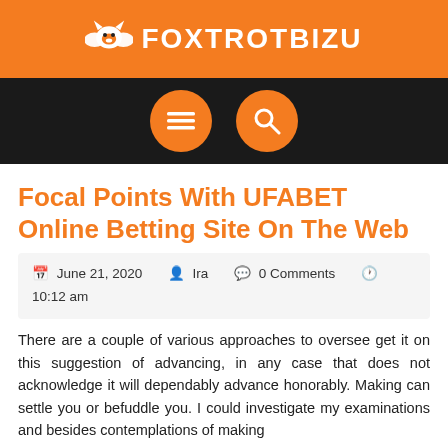FOXTROTBIZU
[Figure (screenshot): Navigation bar with menu icon and search icon on dark background]
Focal Points With UFABET Online Betting Site On The Web
June 21, 2020  Ira  0 Comments  10:12 am
There are a couple of various approaches to oversee get it on this suggestion of advancing, in any case that does not acknowledge it will dependably advance honorably. Making can settle you or befuddle you. I could investigate my examinations and besides contemplations of making